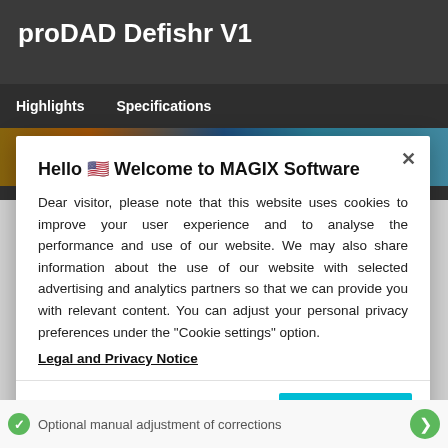proDAD Defishr V1
Highlights  Specifications
[Figure (screenshot): Partial screenshot of a webpage showing a colorful image strip]
× (close button)
Hello 🎉 Welcome to MAGIX Software
Dear visitor, please note that this website uses cookies to improve your user experience and to analyse the performance and use of our website. We may also share information about the use of our website with selected advertising and analytics partners so that we can provide you with relevant content. You can adjust your personal privacy preferences under the "Cookie settings" option.
Legal and Privacy Notice
Cookie Settings
OK
Optional manual adjustment of corrections